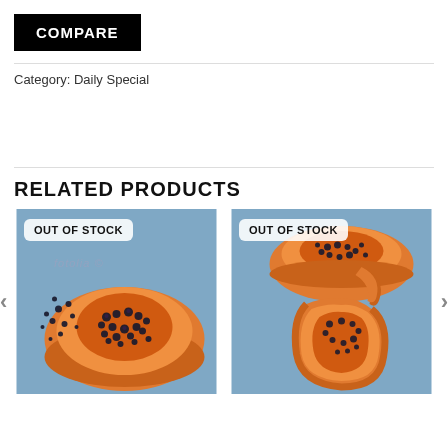COMPARE
Category: Daily Special
RELATED PRODUCTS
[Figure (photo): Half papaya with seeds on blue background, labeled OUT OF STOCK]
[Figure (photo): Two halved papayas with seeds on blue background, labeled OUT OF STOCK]